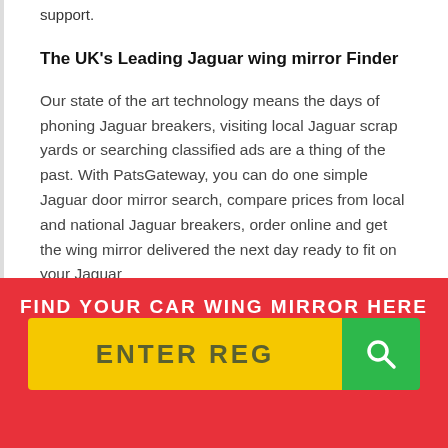support.
The UK's Leading Jaguar wing mirror Finder
Our state of the art technology means the days of phoning Jaguar breakers, visiting local Jaguar scrap yards or searching classified ads are a thing of the past. With PatsGateway, you can do one simple Jaguar door mirror search, compare prices from local and national Jaguar breakers, order online and get the wing mirror delivered the next day ready to fit on your Jaguar
FIND YOUR CAR WING MIRROR HERE
ENTER REG